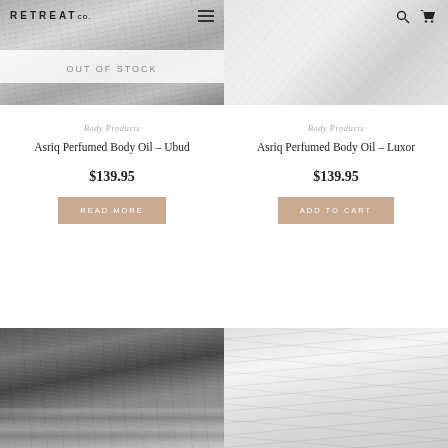[Figure (photo): Black and white photo of palm tree texture with RETREAT logo overlay, hamburger menu icon, and OUT OF STOCK banner at bottom]
[Figure (photo): Light airy texture photo with search and cart icons in top right]
Body Products
Asriq Perfumed Body Oil – Ubud
$139.95
READ MORE
Body Products
Asriq Perfumed Body Oil – Luxor
$139.95
ADD TO CART
[Figure (photo): Black and white ocean waves photo]
[Figure (photo): Black and white palm trees photo]